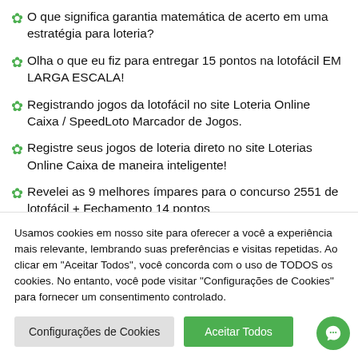O que significa garantia matemática de acerto em uma estratégia para loteria?
Olha o que eu fiz para entregar 15 pontos na lotofácil EM LARGA ESCALA!
Registrando jogos da lotofácil no site Loteria Online Caixa / SpeedLoto Marcador de Jogos.
Registre seus jogos de loteria direto no site Loterias Online Caixa de maneira inteligente!
Revelei as 9 melhores ímpares para o concurso 2551 de lotofácil + Fechamento 14 pontos
Usamos cookies em nosso site para oferecer a você a experiência mais relevante, lembrando suas preferências e visitas repetidas. Ao clicar em "Aceitar Todos", você concorda com o uso de TODOS os cookies. No entanto, você pode visitar "Configurações de Cookies" para fornecer um consentimento controlado.